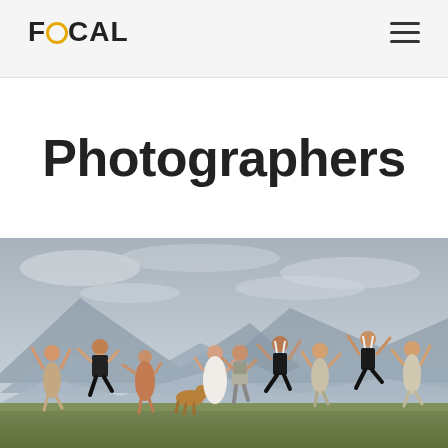FOCAL
Photographers
[Figure (photo): A group of people jumping joyfully outdoors in a field with mountains and an overcast sky in the background — appears to be a wedding party celebration photo with the bride in white and others in formal/semi-formal attire.]